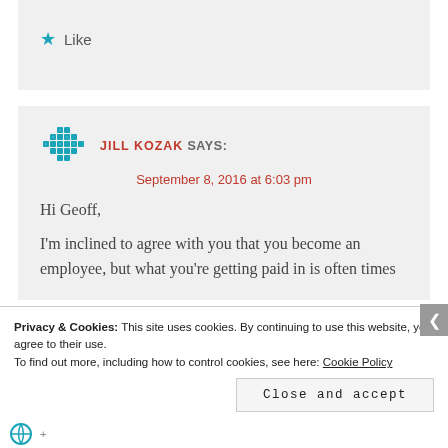★ Like
JILL KOZAK SAYS:
September 8, 2016 at 6:03 pm
Hi Geoff,
I'm inclined to agree with you that you become an employee, but what you're getting paid in is often times
Privacy & Cookies: This site uses cookies. By continuing to use this website, you agree to their use.
To find out more, including how to control cookies, see here: Cookie Policy
Close and accept